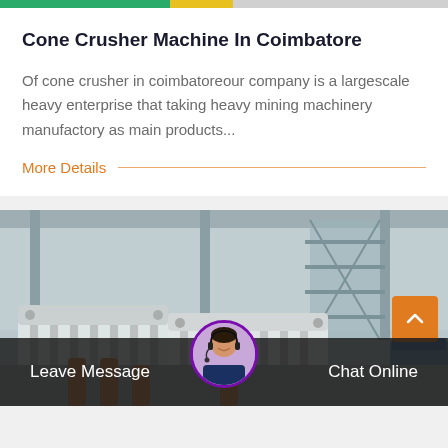[Figure (photo): Top decorative color bar with green, yellow, and grey gradient]
Cone Crusher Machine In Coimbatore
Of cone crusher in coimbatoreour company is a largescale heavy enterprise that taking heavy mining machinery manufactory as main products...
More Details
[Figure (photo): Interior photo of a factory with large white cone crusher machines, industrial structure, stairs and scaffolding visible]
Leave Message
Chat Online